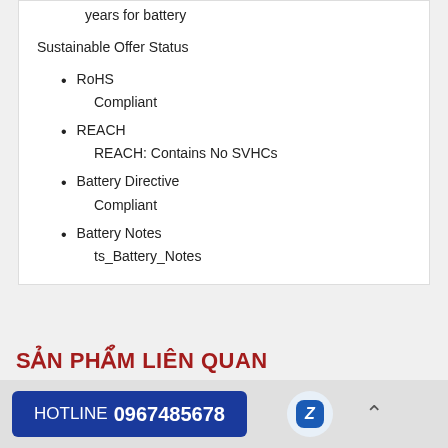years for battery
Sustainable Offer Status
RoHS
Compliant
REACH
REACH: Contains No SVHCs
Battery Directive
Compliant
Battery Notes
ts_Battery_Notes
SẢN PHẨM LIÊN QUAN
HOTLINE 0967485678